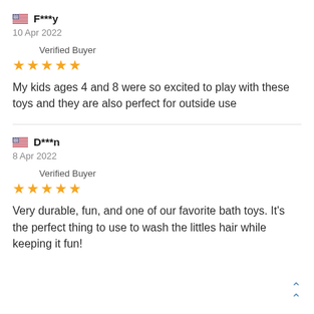F***y
10 Apr 2022
Verified Buyer
★★★★★
My kids ages 4 and 8 were so excited to play with these toys and they are also perfect for outside use
D***n
8 Apr 2022
Verified Buyer
★★★★★
Very durable, fun, and one of our favorite bath toys. It's the perfect thing to use to wash the littles hair while keeping it fun!